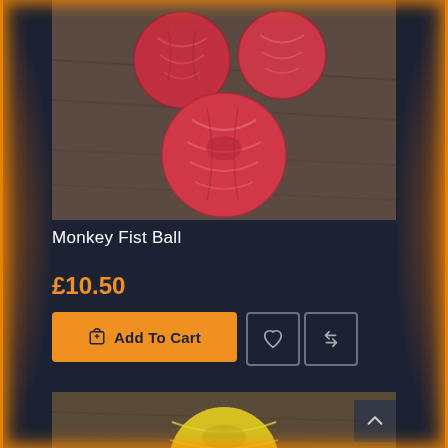[Figure (photo): Four pink/red monkey fist knot balls arranged on a dark wooden surface, photographed from above.]
Monkey Fist Ball
£10.50
Add To Cart
[Figure (photo): Partial view of a yellow monkey fist knot ball on a dark wooden surface.]